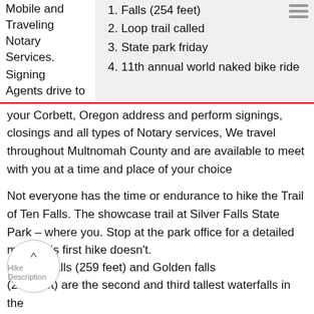Mobile and
Traveling
Notary
Services.
1. Falls (254 feet)
2. Loop trail called
3. State park friday
Signing
Agents drive to
4. 11th annual world naked bike ride
your Corbett, Oregon address and perform signings, closings and all types of Notary services, We travel throughout Multnomah County and are available to meet with you at a time and place of your choice
Not everyone has the time or endurance to hike the Trail of Ten Falls. The showcase trail at Silver Falls State Park – where you. Stop at the park office for a detailed map. This first hike doesn't.
Hike Description . Silver Falls (259 feet) and Golden falls (254 feet) are the second and third tallest waterfalls in the